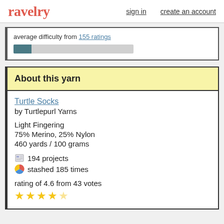ravelry   sign in   create an account
average difficulty from 155 ratings
About this yarn
Turtle Socks
by Turtlepurl Yarns

Light Fingering
75% Merino, 25% Nylon
460 yards / 100 grams

194 projects
stashed 185 times

rating of 4.6 from 43 votes